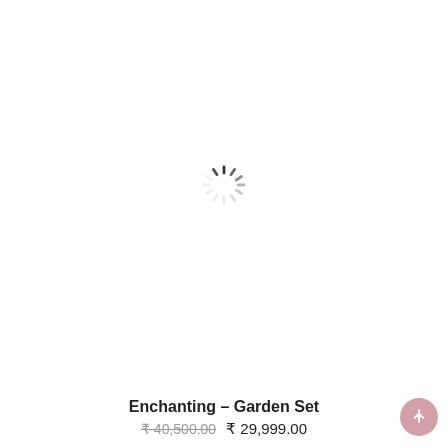[Figure (other): Loading spinner / activity indicator showing a sunburst/radial spinning animation with dark dashes radiating from center on a white background]
Enchanting – Garden Set
₹ 40,500.00  ₹ 29,999.00